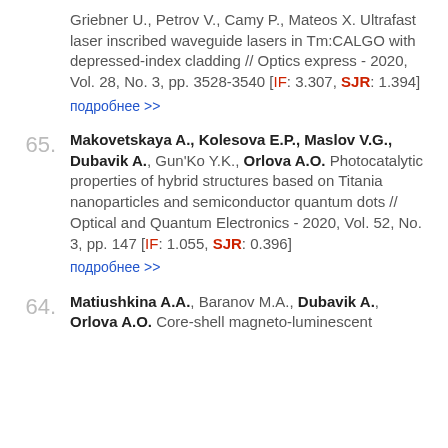Griebner U., Petrov V., Camy P., Mateos X. Ultrafast laser inscribed waveguide lasers in Tm:CALGO with depressed-index cladding // Optics express - 2020, Vol. 28, No. 3, pp. 3528-3540 [IF: 3.307, SJR: 1.394] подробнее >>
65. Makovetskaya A., Kolesova E.P., Maslov V.G., Dubavik A., Gun'Ko Y.K., Orlova A.O. Photocatalytic properties of hybrid structures based on Titania nanoparticles and semiconductor quantum dots // Optical and Quantum Electronics - 2020, Vol. 52, No. 3, pp. 147 [IF: 1.055, SJR: 0.396] подробнее >>
64. Matiushkina A.A., Baranov M.A., Dubavik A., Orlova A.O. Core-shell magneto-luminescent